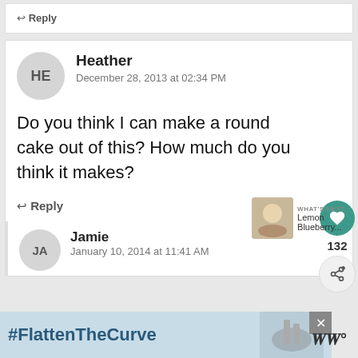↩ Reply
Heather
December 28, 2013 at 02:34 PM
Do you think I can make a round cake out of this? How much do you think it makes?
↩ Reply
Jamie
January 10, 2014 at 11:41 AM
#FlattenTheCurve